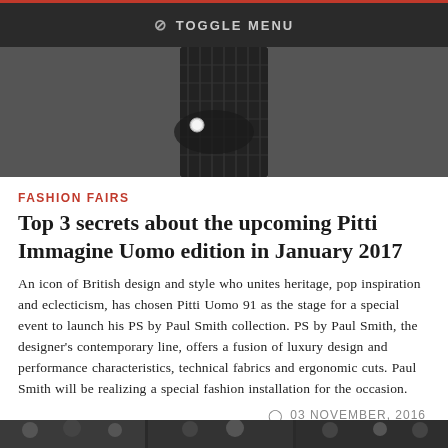⊘ TOGGLE MENU
[Figure (photo): Fashion photo of a person in a dark plaid suit with arms crossed, shown from torso down, against a grey background.]
FASHION FAIRS
Top 3 secrets about the upcoming Pitti Immagine Uomo edition in January 2017
An icon of British design and style who unites heritage, pop inspiration and eclecticism, has chosen Pitti Uomo 91 as the stage for a special event to launch his PS by Paul Smith collection. PS by Paul Smith, the designer's contemporary line, offers a fusion of luxury design and performance characteristics, technical fabrics and ergonomic cuts. Paul Smith will be realizing a special fashion installation for the occasion.
03 NOVEMBER, 2016
[Figure (photo): Partial photo strip at the bottom showing group of people, partially cut off.]